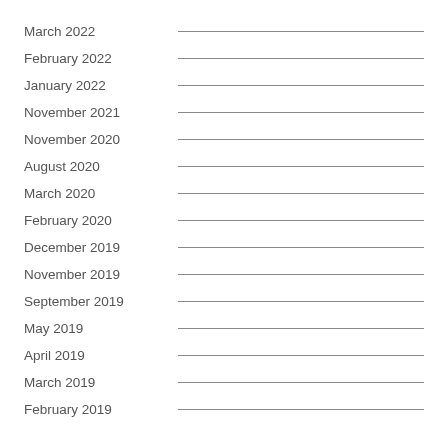March 2022
February 2022
January 2022
November 2021
November 2020
August 2020
March 2020
February 2020
December 2019
November 2019
September 2019
May 2019
April 2019
March 2019
February 2019